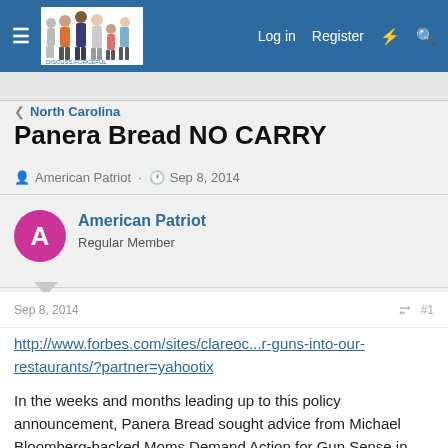Navigation bar with menu, logo, Log in, Register, icons
< North Carolina
Panera Bread NO CARRY
American Patriot · Sep 8, 2014
American Patriot
Regular Member
Sep 8, 2014  #1
http://www.forbes.com/sites/clareoc...r-guns-into-our-restaurants/?partner=yahootix
In the weeks and months leading up to this policy announcement, Panera Bread sought advice from Michael Bloomberg-backed Moms Demand Action for Gun Sense in